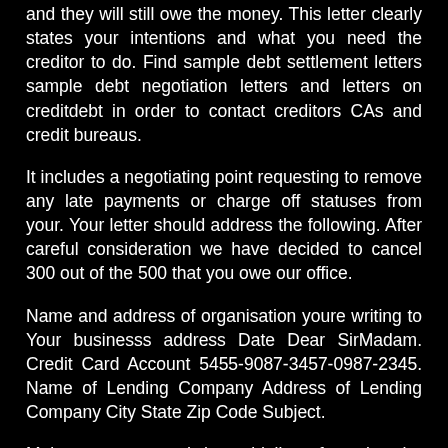and they will still owe the money. This letter clearly states your intentions and what you need the creditor to do. Find sample debt settlement letters sample debt negotiation letters and letters on creditdebt in order to contact creditors CAs and credit bureaus.
It includes a negotiating point requesting to remove any late payments or charge off statuses from your. Your letter should address the following. After careful consideration we have decided to cancel 300 out of the 500 that you owe our office.
Name and address of organisation youre writing to Your businesss address Date Dear SirMadam. Credit Card Account 5455-9087-3457-0987-2345. Name of Lending Company Address of Lending Company City State Zip Code Subject.
Make sure you read the guidelines for using the letter templates first. Asking for information about your debts. Name of Creditor Organization Your name and address Creditors address Date Account Number.
When composing an official or company letter discussion style as well as layout is crucial making a great very first perception.